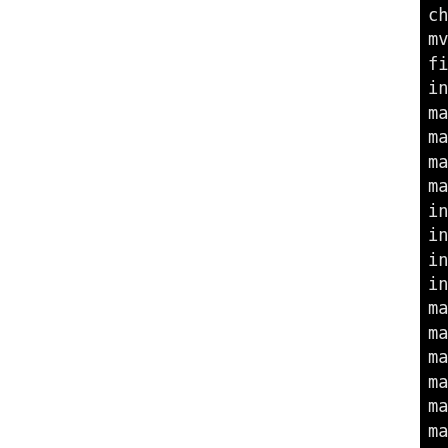[Figure (screenshot): Terminal/console output showing installation steps for OpenSSL build, including chmod, mv, fi, installing gost, make leaving/entering directory messages, installing openssl, CA.sh, CA.pl, tsget, making install in test, making install in tools, installing libcrypto.a, libssl.a, libcrypto.so.1, libssl.so.1 (partially visible). Left portion of page is white (blank).]